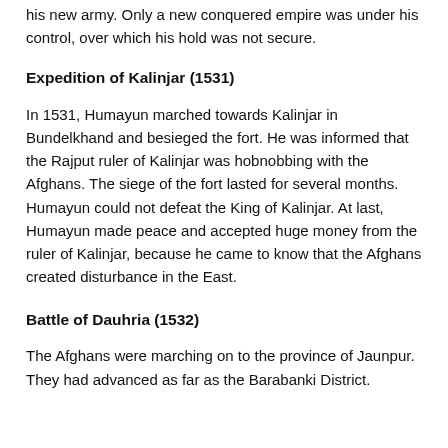his new army. Only a new conquered empire was under his control, over which his hold was not secure.
Expedition of Kalinjar (1531)
In 1531, Humayun marched towards Kalinjar in Bundelkhand and besieged the fort. He was informed that the Rajput ruler of Kalinjar was hobnobbing with the Afghans. The siege of the fort lasted for several months. Humayun could not defeat the King of Kalinjar. At last, Humayun made peace and accepted huge money from the ruler of Kalinjar, because he came to know that the Afghans created disturbance in the East.
Battle of Dauhria (1532)
The Afghans were marching on to the province of Jaunpur. They had advanced as far as the Barabanki District.